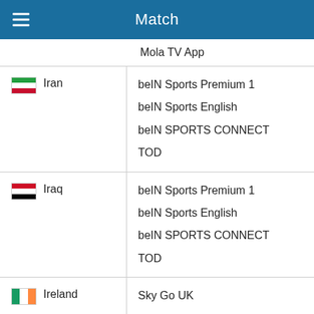Match
Mola TV App
Iran — beIN Sports Premium 1, beIN Sports English, beIN SPORTS CONNECT, TOD
Iraq — beIN Sports Premium 1, beIN Sports English, beIN SPORTS CONNECT, TOD
Ireland — Sky Go UK, NOW, SKY GO Extra, Sky Ultra HD, Sky Sports Main Event